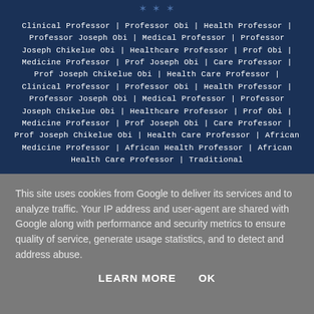Clinical Professor | Professor Obi | Health Professor | Professor Joseph Obi | Medical Professor | Professor Joseph Chikelue Obi | Healthcare Professor | Prof Obi | Medicine Professor | Prof Joseph Obi | Care Professor | Prof Joseph Chikelue Obi | Health Care Professor | Clinical Professor | Professor Obi | Health Professor | Professor Joseph Obi | Medical Professor | Professor Joseph Chikelue Obi | Healthcare Professor | Prof Obi | Medicine Professor | Prof Joseph Obi | Care Professor | Prof Joseph Chikelue Obi | Health Care Professor | African Medicine Professor | African Health Professor | African Health Care Professor | Traditional
This site uses cookies from Google to deliver its services and to analyze traffic. Your IP address and user-agent are shared with Google along with performance and security metrics to ensure quality of service, generate usage statistics, and to detect and address abuse.
LEARN MORE    OK